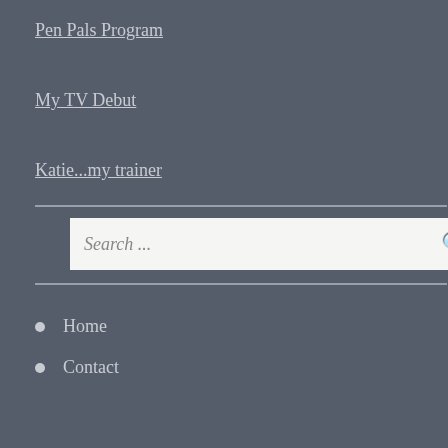Pen Pals Program
My TV Debut
Katie...my trainer
Search ...
Home
Contact